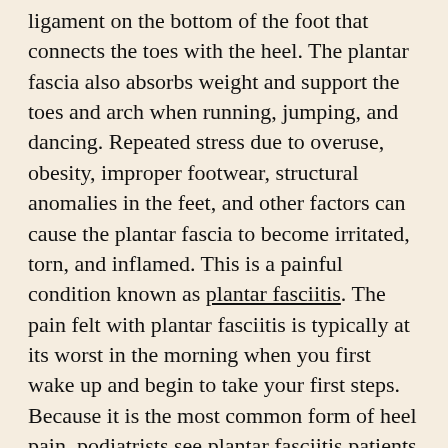ligament on the bottom of the foot that connects the toes with the heel. The plantar fascia also absorbs weight and support the toes and arch when running, jumping, and dancing. Repeated stress due to overuse, obesity, improper footwear, structural anomalies in the feet, and other factors can cause the plantar fascia to become irritated, torn, and inflamed. This is a painful condition known as plantar fasciitis. The pain felt with plantar fasciitis is typically at its worst in the morning when you first wake up and begin to take your first steps. Because it is the most common form of heel pain, podiatrists see plantar fasciitis patients regularly and have a variety of options to treat it. If you are having heel pain, make an appointment with a podiatrist for an exam to get properly diagnosed and treated.
Plantar fasciitis is a common foot condition that is often caused by a strain injury. If you are experiencing heel pain or symptoms of plantar fasciitis, contact one of our podiatrists from